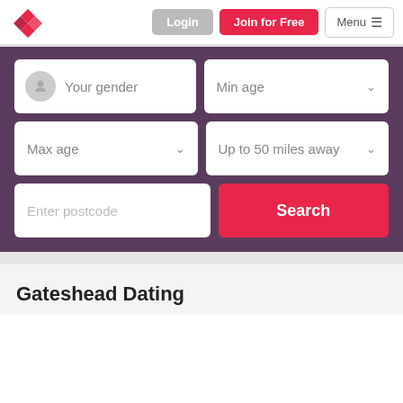[Figure (logo): Pink/red heart-shaped logo made of geometric diamond shapes]
Login
Join for Free
Menu ≡
Your gender
Min age
Max age
Up to 50 miles away
Enter postcode
Search
Gateshead Dating